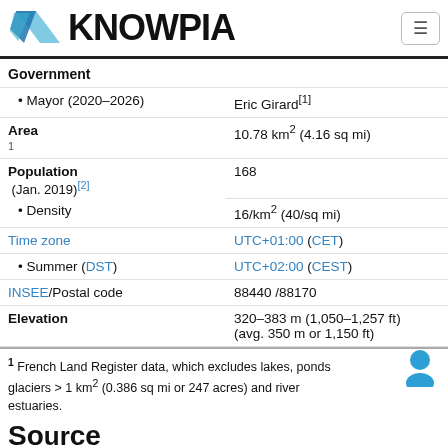KNOWPIA
| Field | Value |
| --- | --- |
| Government |  |
| • Mayor (2020–2026) | Eric Girard[1] |
| Area
1 | 10.78 km² (4.16 sq mi) |
| Population
(Jan. 2019)[2] | 168 |
| • Density | 16/km² (40/sq mi) |
| Time zone | UTC+01:00 (CET) |
| • Summer (DST) | UTC+02:00 (CEST) |
| INSEE/Postal code | 88440 /88170 |
| Elevation | 320–383 m (1,050–1,257 ft)
(avg. 350 m or 1,150 ft) |
1 French Land Register data, which excludes lakes, ponds glaciers > 1 km² (0.386 sq mi or 247 acres) and river estuaries.
Sources